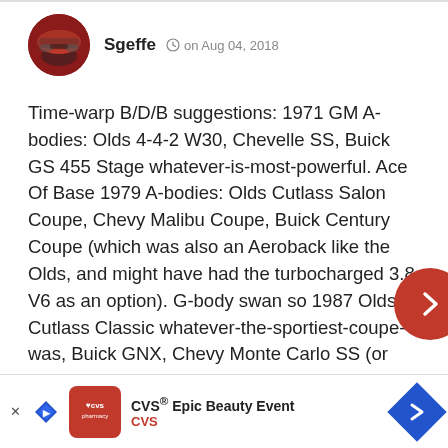Sgeffe  on Aug 04, 2018
Time-warp B/D/B suggestions: 1971 GM A-bodies: Olds 4-4-2 W30, Chevelle SS, Buick GS 455 Stage whatever-is-most-powerful. Ace Of Base 1979 A-bodies: Olds Cutlass Salon Coupe, Chevy Malibu Coupe, Buick Century Coupe (which was also an Aeroback like the Olds, and might have had the turbocharged 3.8 V6 as an option). G-body swan so 1987 Olds Cutlass Classic whatever-the-sportiest-coupe-was, Buick GNX, Chevy Monte Carlo SS (or were only the Olds and Bruick around for '87?) 1980 C-bodies: Olds 98, Buick Electra, Caddy Sedan DeVille. 1974 Ford PLCs: LTD/Mercury Cougar/Lincoln Mark IV. 197 Marqu
[Figure (other): CVS Epic Beauty Event advertisement banner at bottom of page]